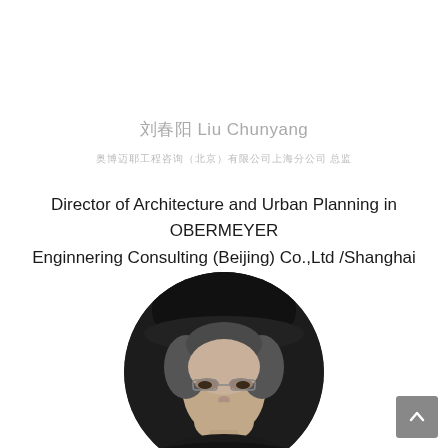刘春阳 Liu Chunyang
奥博迈耶工程咨询（北京）有限公司上海分公司 总监
Director of Architecture and Urban Planning in OBERMEYER Enginnering Consulting (Beijing) Co.,Ltd /Shanghai Branch
[Figure (photo): Black and white circular portrait photo of Liu Chunyang, a person with medium-length hair wearing glasses, shown from the shoulders up against a dark background]